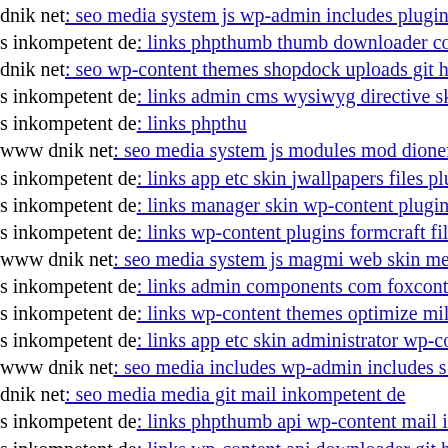dnik net: seo media system js wp-admin includes plugins c...
s inkompetent de: links phpthumb thumb downloader com...
dnik net: seo wp-content themes shopdock uploads git hea...
s inkompetent de: links admin cms wysiwyg directive skin...
s inkompetent de: links phpthu
www dnik net: seo media system js modules mod dionefile...
s inkompetent de: links app etc skin jwallpapers files plup...
s inkompetent de: links manager skin wp-content plugins w...
s inkompetent de: links wp-content plugins formcraft file-u...
www dnik net: seo media system js magmi web skin media...
s inkompetent de: links admin components com foxcontac...
s inkompetent de: links wp-content themes optimize mil ph...
s inkompetent de: links app etc skin administrator wp-cont...
www dnik net: seo media includes wp-admin includes s in...
dnik net: seo media media git mail inkompetent de
s inkompetent de: links phpthumb api wp-content mail ink...
s inkompetent de: links wp-content api downloader git hea...
dnik net: seo media system js magmi web skin media admi...
s inkompetent de: links manager wp-content themes basic...
s inkompetent de: links wp-content themes coffeebreak fun...
www dnik net: seo media system js components com b2jco...